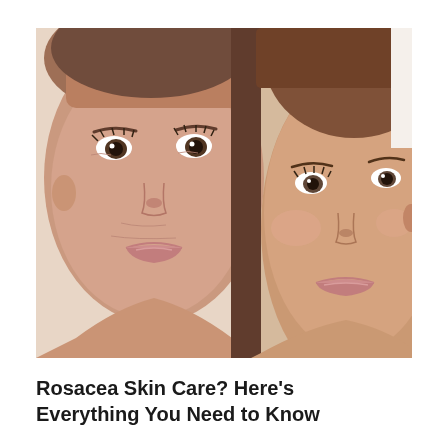[Figure (photo): Close-up portrait of two women's faces side by side against a white background. The woman on the left is older with light skin and brown eyes. The woman on the right is younger with slightly tanned skin and hazel eyes. Both are bare-shouldered and looking toward the camera.]
Rosacea Skin Care? Here's Everything You Need to Know